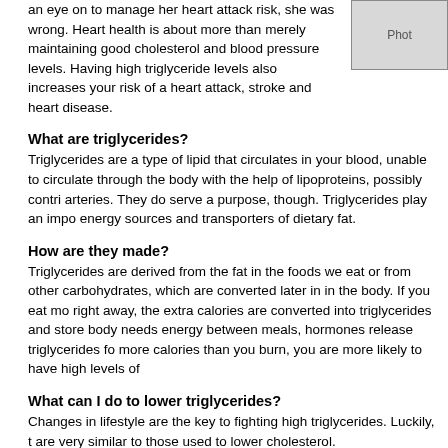an eye on to manage her heart attack risk, she was wrong.  Heart health is about more than merely maintaining good cholesterol and blood pressure levels.  Having high triglyceride levels also increases your risk of a heart attack, stroke and heart disease.
[Figure (photo): Photo placeholder box in upper right corner]
What are triglycerides?
Triglycerides are a type of lipid that circulates in your blood, unable to circulate through the body with the help of lipoproteins, possibly contributing to arteries.  They do serve a purpose, though.  Triglycerides play an important role as energy sources and transporters of dietary fat.
How are they made?
Triglycerides are derived from the fat in the foods we eat or from other carbohydrates, which are converted later in in the body.  If you eat more calories than right away, the extra calories are converted into triglycerides and stored in fat cells.  When your body needs energy between meals, hormones release triglycerides for your use.  If you consume more calories than you burn, you are more likely to have high levels of triglycerides.
What can I do to lower triglycerides?
Changes in lifestyle are the key to fighting high triglycerides.  Luckily, the changes are very similar to those used to lower cholesterol.
If overweight, lose weight: Cut down on excess calories and watch your body weight.  After all, excess calories are converted to triglycerides.
Eat a heart healthy diet: Reduce the saturated fat and cholesterol, and eliminate trans fats.  You need fat in your diet, but substitute monounsaturated or polyunsaturated fats for saturated fats. Also, avoid sugary and